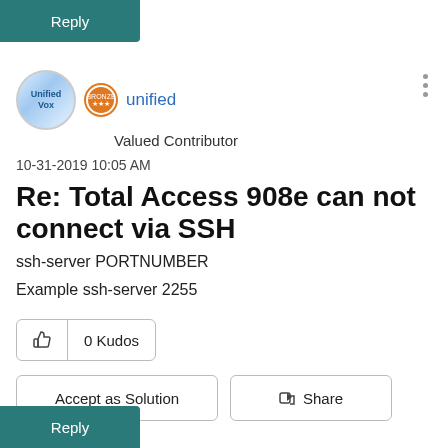Reply
[Figure (illustration): User avatar for 'unified' showing Unified Vox logo with blue rays on white background, and a bronze badge icon]
unified
Valued Contributor
10-31-2019 10:05 AM
Re: Total Access 908e can not connect via SSH
ssh-server PORTNUMBER
Example ssh-server 2255
0 Kudos
Accept as Solution
Share
Reply